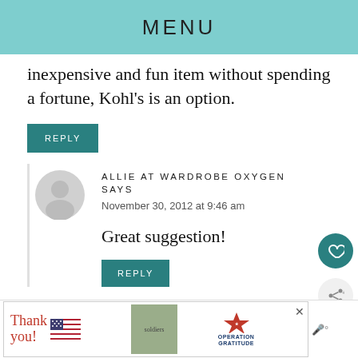MENU
inexpensive and fun item without spending a fortune, Kohl's is an option.
REPLY
ALLIE AT WARDROBE OXYGEN SAYS
November 30, 2012 at 9:46 am
Great suggestion!
REPLY
[Figure (other): Advertisement banner: Thank you with US flag graphic, soldiers photo, and Operation Gratitude logo]